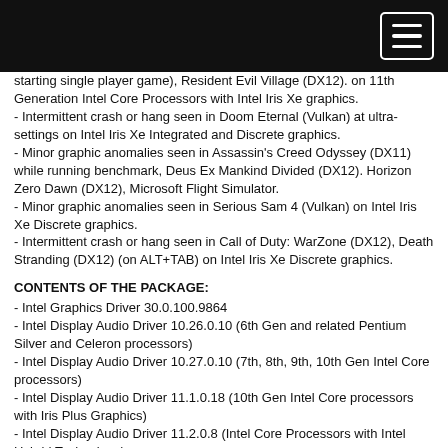starting single player game), Resident Evil Village (DX12). on 11th Generation Intel Core Processors with Intel Iris Xe graphics.
- Intermittent crash or hang seen in Doom Eternal (Vulkan) at ultra-settings on Intel Iris Xe Integrated and Discrete graphics.
- Minor graphic anomalies seen in Assassin's Creed Odyssey (DX11) while running benchmark, Deus Ex Mankind Divided (DX12). Horizon Zero Dawn (DX12), Microsoft Flight Simulator.
- Minor graphic anomalies seen in Serious Sam 4 (Vulkan) on Intel Iris Xe Discrete graphics.
- Intermittent crash or hang seen in Call of Duty: WarZone (DX12), Death Stranding (DX12) (on ALT+TAB) on Intel Iris Xe Discrete graphics.
CONTENTS OF THE PACKAGE:
- Intel Graphics Driver 30.0.100.9864
- Intel Display Audio Driver 10.26.0.10 (6th Gen and related Pentium Silver and Celeron processors)
- Intel Display Audio Driver 10.27.0.10 (7th, 8th, 9th, 10th Gen Intel Core processors)
- Intel Display Audio Driver 11.1.0.18 (10th Gen Intel Core processors with Iris Plus Graphics)
- Intel Display Audio Driver 11.2.0.8 (Intel Core Processors with Intel Hybrid Technology)
- Intel Display Audio Driver 12.1.0.6 (Intel Iris Xe Discrete Graphics)
- Intel Media SDK Runtime (21.0.1.35)
- Intel oneVPL6 GPU Runtime (21.0.2.4)
- Intel Graphics Compute Runtime for OpenCL Driver
- Intel Graphics Command Center (installed via Microsoft Store)
- Vulkan Runtime Installer
- Intel Graphics Driver Installer (1.0.496)
- OneAPI Level Zero Loader and Validation Layer
- Intel Graphics Compute Runtime for OneAPI Level Zero specification
SUPPORTED OS VERSIONS: